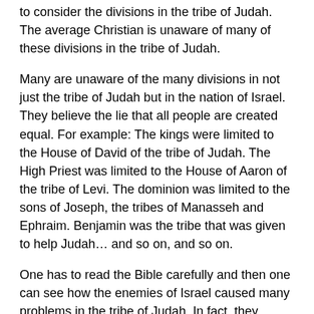to consider the divisions in the tribe of Judah. The average Christian is unaware of many of these divisions in the tribe of Judah.
Many are unaware of the many divisions in not just the tribe of Judah but in the nation of Israel. They believe the lie that all people are created equal. For example: The kings were limited to the House of David of the tribe of Judah. The High Priest was limited to the House of Aaron of the tribe of Levi. The dominion was limited to the sons of Joseph, the tribes of Manasseh and Ephraim. Benjamin was the tribe that was given to help Judah… and so on, and so on.
One has to read the Bible carefully and then one can see how the enemies of Israel caused many problems in the tribe of Judah. In fact, they caused many difficulties in all of the tribes of Israel. But we will look at some of the divisions that occurred in the tribe of Judah.
DIVISIONS OF THE TRIBE OF JUDAH
1. Descendants of Pharez and Zerah vs. the descendants of